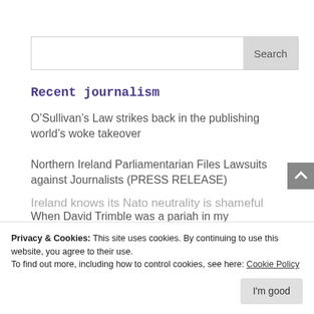Search
Recent journalism
O’Sullivan’s Law strikes back in the publishing world’s woke takeover
Northern Ireland Parliamentarian Files Lawsuits against Journalists (PRESS RELEASE)
When David Trimble was a pariah in my
Ireland knows its Nato neutrality is shameful
Privacy & Cookies: This site uses cookies. By continuing to use this website, you agree to their use.
To find out more, including how to control cookies, see here: Cookie Policy
I'm good